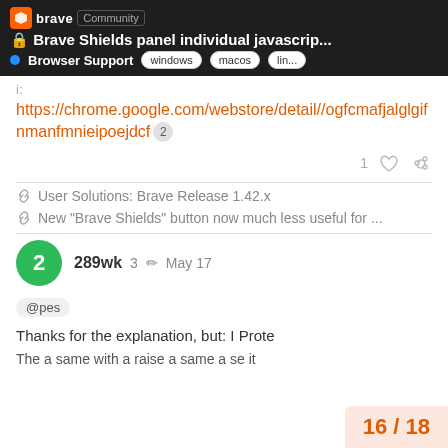🔒 Brave Shields panel individual javascrip... | Browser Support | windows | macos | lin...
i:
https://chrome.google.com/webstore/detail//ogfcmafjalglgifnmanfmnieipoejdcf 2
1 ♡ 🔗
🔗 User Solutions: Brave Release 1.42.x
🔗 New "Brave Shields" button now much less useful for ...
289wk  3 ✏  May 17
@pes
Thanks for the explanation, but: I Prote
16 / 18